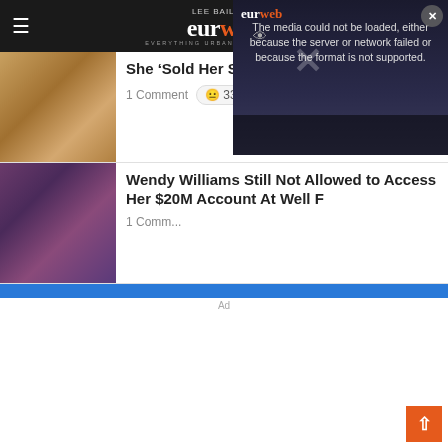Lee Bailey's EURweb - Everything Urban + Radioscope
She ‘Sold Her Soul’ | Video
1 Comment  😐 33%
Wendy Williams Still Not Allowed to Access Her $20M Account At Well F...
1 Comment
[Figure (screenshot): Video player error overlay: 'The media could not be loaded either because the server or network failed or because the format is not supported.']
Ad